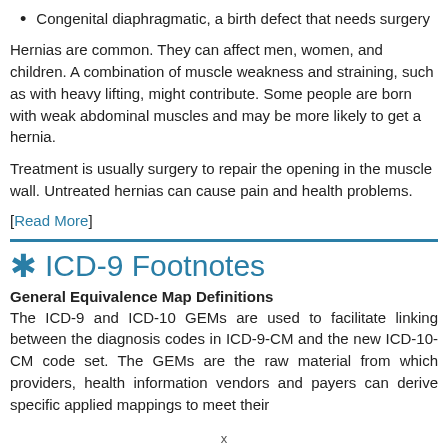Congenital diaphragmatic, a birth defect that needs surgery
Hernias are common. They can affect men, women, and children. A combination of muscle weakness and straining, such as with heavy lifting, might contribute. Some people are born with weak abdominal muscles and may be more likely to get a hernia.
Treatment is usually surgery to repair the opening in the muscle wall. Untreated hernias can cause pain and health problems.
[Read More]
ICD-9 Footnotes
General Equivalence Map Definitions
The ICD-9 and ICD-10 GEMs are used to facilitate linking between the diagnosis codes in ICD-9-CM and the new ICD-10-CM code set. The GEMs are the raw material from which providers, health information vendors and payers can derive specific applied mappings to meet their